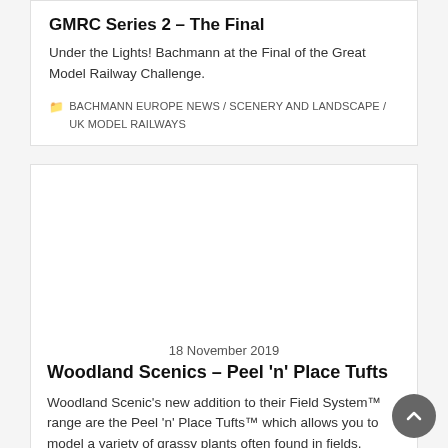GMRC Series 2 – The Final
Under the Lights!  Bachmann at the Final of the Great Model Railway Challenge.
BACHMANN EUROPE NEWS / SCENERY AND LANDSCAPE / UK MODEL RAILWAYS
[Figure (photo): Blank white image area for second card (article image not loaded)]
18 November 2019
Woodland Scenics – Peel 'n' Place Tufts
Woodland Scenic's new addition to their Field System™ range are the Peel 'n' Place Tufts™ which allows you to model a variety of grassy plants often found in fields, meadows and